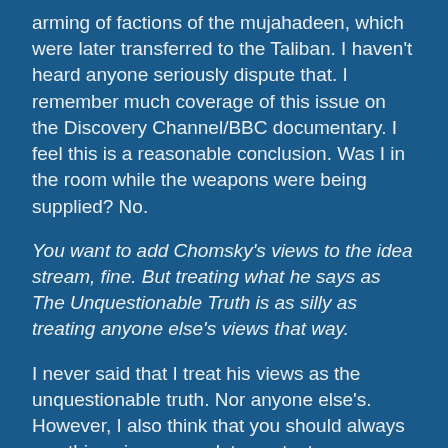arming of factions of the mujahadeen, which were later transferred to the Taliban. I haven't heard anyone seriously dispute that. I remember much coverage of this issue on the Discovery Channel/BBC documentary. I feel this is a reasonable conclusion. Was I in the room while the weapons were being supplied? No.
You want to add Chomsky's views to the idea stream, fine. But treating what he says as The Unquestionable Truth is as silly as treating anyone else's views that way.
I never said that I treat his views as the unquestionable truth. Nor anyone else's. However, I also think that you should always see things in as complete context as possible.
posted by octavius at 10:41 AM on October 8, 2001
aaron,
I thought that you could be an alt...